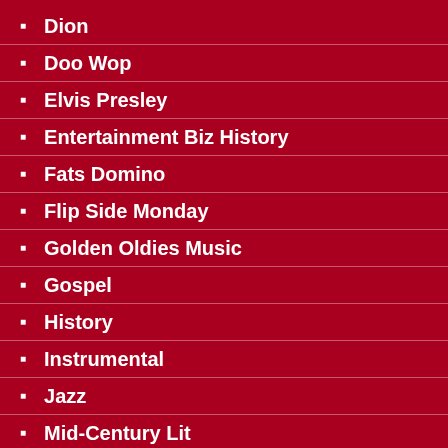Dion
Doo Wop
Elvis Presley
Entertainment Biz History
Fats Domino
Flip Side Monday
Golden Oldies Music
Gospel
History
Instrumental
Jazz
Mid-Century Lit